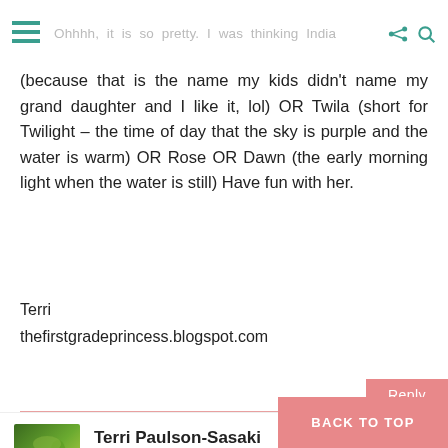Ohhhh, it is so pretty. I was thinking India (because that is the name my kids didn't name my grand daughter and I like it, lol) OR Twila (short for Twilight - the time of day that the sky is purple and the water is warm) OR Rose OR Dawn (the early morning light when the water is still) Have fun with her.
Ohhhh, it is so pretty. I was thinking India (because that is the name my kids didn't name my grand daughter and I like it, lol) OR Twila (short for Twilight - the time of day that the sky is purple and the water is warm) OR Rose OR Dawn (the early morning light when the water is still) Have fun with her.
Terri
thefirstgradeprincess.blogspot.com
Terri Paulson-Sasaki
November 12, 2012 at 4:16 AM
or Pearl - since you live on Oahu a... that pearly, swirly color.